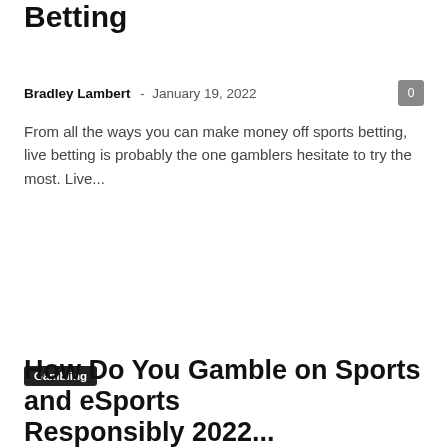Betting
Bradley Lambert  -  January 19, 2022
From all the ways you can make money off sports betting, live betting is probably the one gamblers hesitate to try the most. Live...
Gambling
How Do You Gamble on Sports and eSports Responsibly 2022...